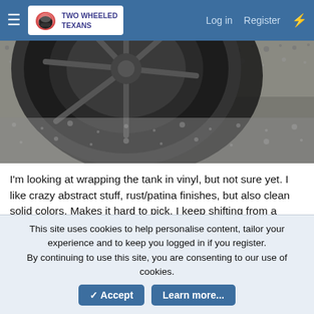Two Wheeled Texans — Log in  Register
[Figure (photo): Close-up photo of a motorcycle wheel/tire on a gravel surface]
I'm looking at wrapping the tank in vinyl, but not sure yet. I like crazy abstract stuff, rust/patina finishes, but also clean solid colors. Makes it hard to pick. I keep shifting from a glossy silver, flat black, and then off to something weird. I've sent a seller on eBay a request for this print but without the skull...I like the background but the skull is silly.
[Figure (photo): Partial view of a motorcycle tank or component (bottom edge only visible)]
This site uses cookies to help personalise content, tailor your experience and to keep you logged in if you register.
By continuing to use this site, you are consenting to our use of cookies.